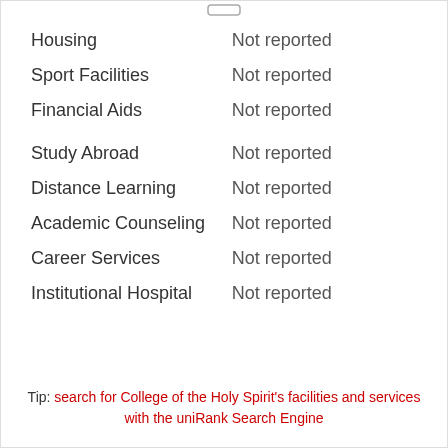| Category | Status |
| --- | --- |
| Housing | Not reported |
| Sport Facilities | Not reported |
| Financial Aids | Not reported |
| Study Abroad | Not reported |
| Distance Learning | Not reported |
| Academic Counseling | Not reported |
| Career Services | Not reported |
| Institutional Hospital | Not reported |
Tip: search for College of the Holy Spirit's facilities and services with the uniRank Search Engine